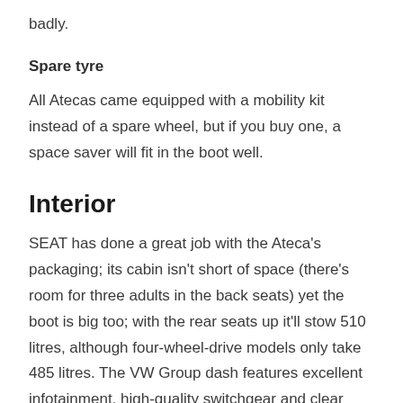badly.
Spare tyre
All Atecas came equipped with a mobility kit instead of a spare wheel, but if you buy one, a space saver will fit in the boot well.
Interior
SEAT has done a great job with the Ateca's packaging; its cabin isn't short of space (there's room for three adults in the back seats) yet the boot is big too; with the rear seats up it'll stow 510 litres, although four-wheel-drive models only take 485 litres. The VW Group dash features excellent infotainment, high-quality switchgear and clear graphics,